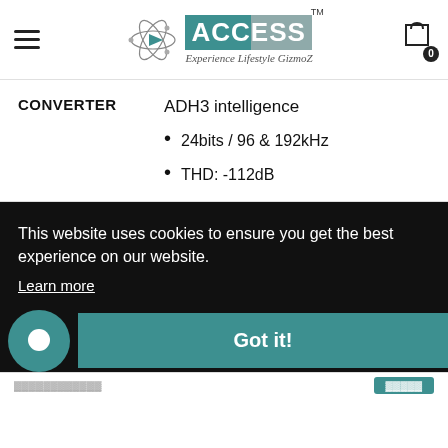[Figure (logo): ACCESS Experience Lifestyle GizmoZ logo with atom/molecule graphic and teal brand name box]
CONVERTER
ADH3 intelligence
24bits / 96 & 192kHz
THD: -112dB
This website uses cookies to ensure you get the best experience on our website.
Learn more
Got it!